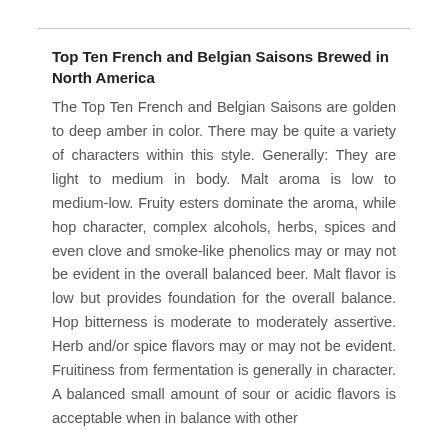Top Ten French and Belgian Saisons Brewed in North America
The Top Ten French and Belgian Saisons are golden to deep amber in color. There may be quite a variety of characters within this style. Generally: They are light to medium in body. Malt aroma is low to medium-low. Fruity esters dominate the aroma, while hop character, complex alcohols, herbs, spices and even clove and smoke-like phenolics may or may not be evident in the overall balanced beer. Malt flavor is low but provides foundation for the overall balance. Hop bitterness is moderate to moderately assertive. Herb and/or spice flavors may or may not be evident. Fruitiness from fermentation is generally in character. A balanced small amount of sour or acidic flavors is acceptable when in balance with other